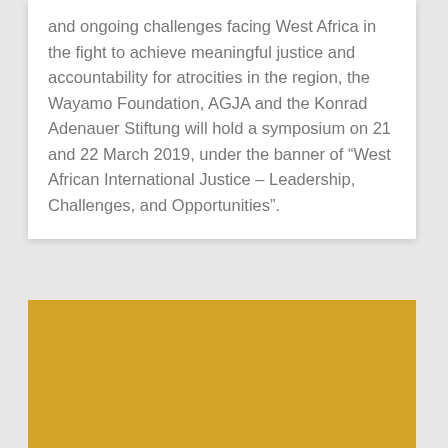and ongoing challenges facing West Africa in the fight to achieve meaningful justice and accountability for atrocities in the region, the Wayamo Foundation, AGJA and the Konrad Adenauer Stiftung will hold a symposium on 21 and 22 March 2019, under the banner of “West African International Justice – Leadership, Challenges, and Opportunities”.
[Figure (other): Solid golden/amber colored rectangular block, partially visible at the bottom of the page]